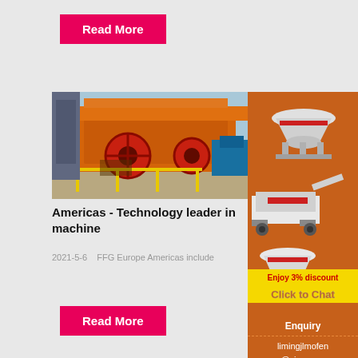Read More
[Figure (photo): Industrial orange mining/crushing machinery with large red circular components, conveyor belts, and steel framework at an industrial site]
Americas - Technology leader in machine
2021-5-6    FFG Europe Americas include
[Figure (photo): Orange sidebar banner showing three industrial crushing machines: a cone crusher at top, a mobile crusher unit in middle, and another cone crusher at bottom. Yellow strip says 'Enjoy 3% discount' and 'Click to Chat']
Enquiry
limingjlmofen @sina.com
Read More